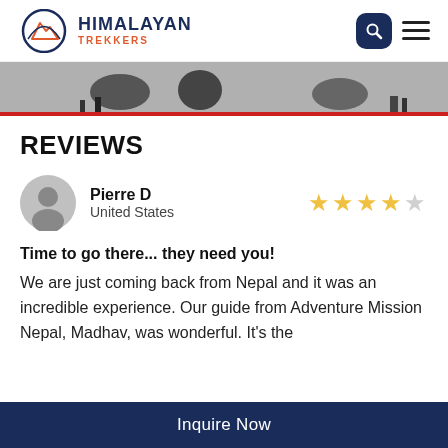HIMALAYAN TREKKERS
[Figure (photo): Partial grayscale photo strip showing trekking equipment or gear]
REVIEWS
Pierre D
United States
★★★★☆
Time to go there... they need you!
We are just coming back from Nepal and it was an incredible experience. Our guide from Adventure Mission Nepal, Madhav, was wonderful. It's the
Inquire Now